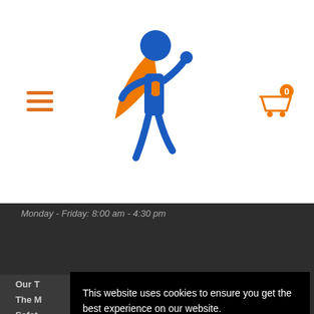[Figure (logo): Superhero figure logo - blue stick figure person with orange cape and orange shield on chest, walking/striding pose]
[Figure (illustration): Orange hamburger menu icon (three horizontal lines) in top left]
[Figure (illustration): Shopping cart icon with orange badge showing '0' in top right]
Monday - Friday: 8:00 am - 4:30 pm
SEND MESSAGE
[Figure (illustration): Social media icons row: Facebook (f), Twitter (bird), LinkedIn (in), YouTube (play button) - all in orange]
This website uses cookies to ensure you get the best experience on our website.
Learn more
Got it!
Our T
The M
Safet
About Us